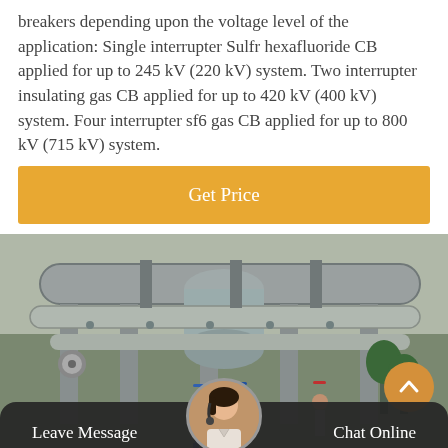breakers depending upon the voltage level of the application: Single interrupter Sulfr hexafluoride CB applied for up to 245 kV (220 kV) system. Two interrupter insulating gas CB applied for up to 420 kV (400 kV) system. Four interrupter sf6 gas CB applied for up to 800 kV (715 kV) system.
Get Price
[Figure (photo): Industrial electrical substation with large cylindrical SF6 circuit breaker equipment, pipes and fittings, workers in safety gear visible in background]
Leave Message   Chat Online